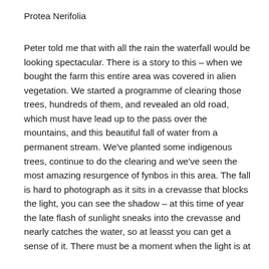Protea Nerifolia
Peter told me that with all the rain the waterfall would be looking spectacular. There is a story to this – when we bought the farm this entire area was covered in alien vegetation. We started a programme of clearing those trees, hundreds of them, and revealed an old road, which must have lead up to the pass over the mountains, and this beautiful fall of water from a permanent stream. We've planted some indigenous trees, continue to do the clearing and we've seen the most amazing resurgence of fynbos in this area. The fall is hard to photograph as it sits in a crevasse that blocks the light, you can see the shadow – at this time of year the late flash of sunlight sneaks into the crevasse and nearly catches the water, so at leasst you can get a sense of it. There must be a moment when the light is at